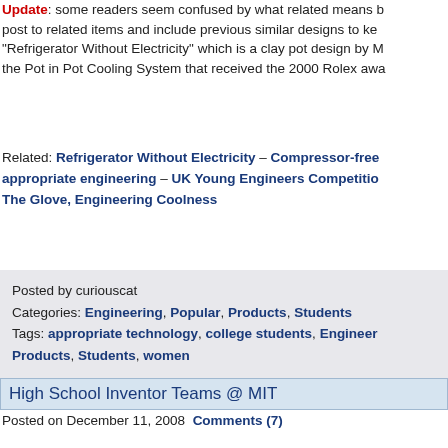Update: some readers seem confused by what related means b... post to related items and include previous similar designs to ke... "Refrigerator Without Electricity" which is a clay pot design by M... the Pot in Pot Cooling System that received the 2000 Rolex awa...
Related: Refrigerator Without Electricity – Compressor-free appropriate engineering – UK Young Engineers Competition – The Glove, Engineering Coolness
Posted by curiouscat
Categories: Engineering, Popular, Products, Students
Tags: appropriate technology, college students, Engineer... Products, Students, women
High School Inventor Teams @ MIT
Posted on December 11, 2008  Comments (7)
Sadly MIT deleted the video after having it live for several years...
Lemelson-MIT InvenTeams is a national grants initiative of the... inventiveness among high school students. The webcast ab...